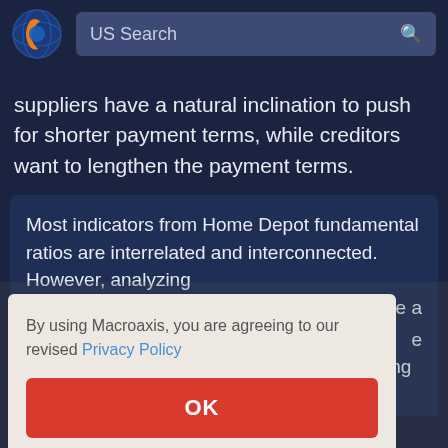[Figure (logo): Macroaxis globe logo — orange and blue sphere icon]
US Search
suppliers have a natural inclination to push for shorter payment terms, while creditors want to lengthen the payment terms.
Most indicators from Home Depot fundamental ratios are interrelated and interconnected. However, analyzing
By using Macroaxis, you are agreeing to our revised Privacy Policy
OK
Analysis.Home Depot Issuance Repayment of Debt